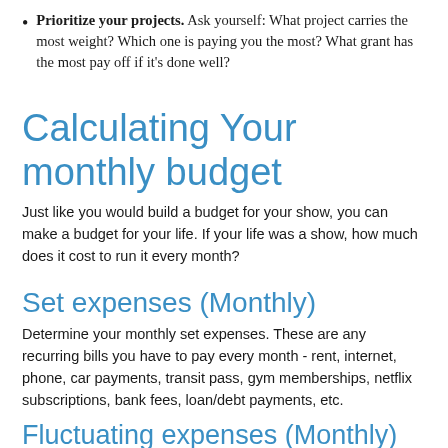Prioritize your projects. Ask yourself: What project carries the most weight? Which one is paying you the most? What grant has the most pay off if it's done well?
Calculating Your monthly budget
Just like you would build a budget for your show, you can make a budget for your life. If your life was a show, how much does it cost to run it every month?
Set expenses (Monthly)
Determine your monthly set expenses. These are any recurring bills you have to pay every month - rent, internet, phone, car payments, transit pass, gym memberships, netflix subscriptions, bank fees, loan/debt payments, etc.
Fluctuating expenses (Monthly)